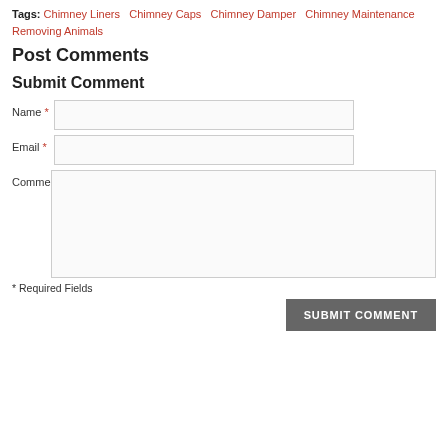Tags: Chimney Liners  Chimney Caps  Chimney Damper  Chimney Maintenance  Removing Animals
Post Comments
Submit Comment
Name * [input field]
Email * [input field]
Comme [textarea field]
* Required Fields
SUBMIT COMMENT